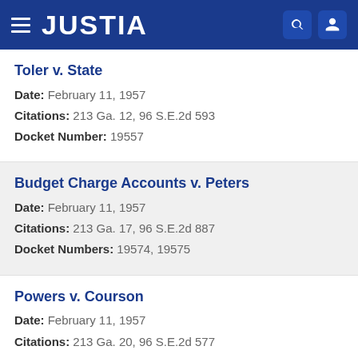JUSTIA
Toler v. State
Date: February 11, 1957
Citations: 213 Ga. 12, 96 S.E.2d 593
Docket Number: 19557
Budget Charge Accounts v. Peters
Date: February 11, 1957
Citations: 213 Ga. 17, 96 S.E.2d 887
Docket Numbers: 19574, 19575
Powers v. Courson
Date: February 11, 1957
Citations: 213 Ga. 20, 96 S.E.2d 577
Docket Number: 19582